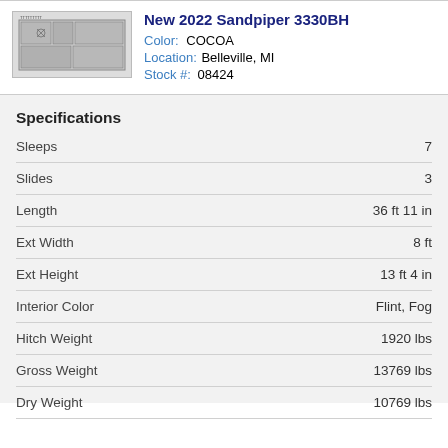[Figure (illustration): Floor plan schematic of RV/travel trailer showing top-down view layout]
New 2022 Sandpiper 3330BH
Color: COCOA
Location: Belleville, MI
Stock #: 08424
Specifications
| Specification | Value |
| --- | --- |
| Sleeps | 7 |
| Slides | 3 |
| Length | 36 ft 11 in |
| Ext Width | 8 ft |
| Ext Height | 13 ft 4 in |
| Interior Color | Flint, Fog |
| Hitch Weight | 1920 lbs |
| Gross Weight | 13769 lbs |
| Dry Weight | 10769 lbs |